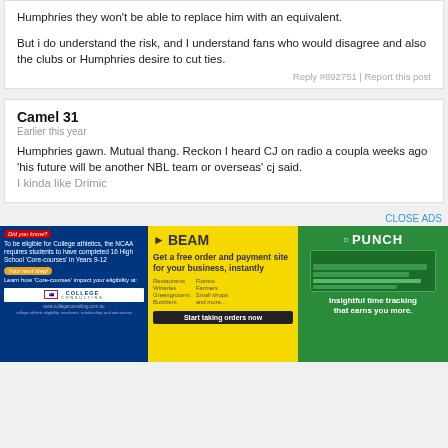Humphries they won't be able to replace him with an equivalent.
But i do understand the risk, and I understand fans who would disagree and also the clubs or Humphries desire to cut ties.
Reply #892751 | Report this post
Camel 31
Earlier this year
Humphries gawn. Mutual thang. Reckon I heard CJ on radio a coupla weeks ago
'his future will be another NBL team or overseas' cj said.
I kinda like Drimic
CLOSE ADS
[Figure (advertisement): Blue background college athletics consulting ad with NCAA information]
[Figure (advertisement): Yellow BEAM ad for free order and payment site for business]
[Figure (advertisement): Green PUNCH ad for insightful time tracking]